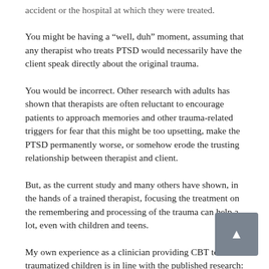accident or the hospital at which they were treated.
You might be having a “well, duh” moment, assuming that any therapist who treats PTSD would necessarily have the client speak directly about the original trauma.
You would be incorrect. Other research with adults has shown that therapists are often reluctant to encourage patients to approach memories and other trauma-related triggers for fear that this might be too upsetting, make the PTSD permanently worse, or somehow erode the trusting relationship between therapist and client.
But, as the current study and many others have shown, in the hands of a trained therapist, focusing the treatment on the remembering and processing of the trauma can help a lot, even with children and teens.
My own experience as a clinician providing CBT to traumatized children is in line with the published research: Helping the child gradually to tell me about the trauma in detail helps them, even when a child is reluctant at first. Over a course of therapy, the